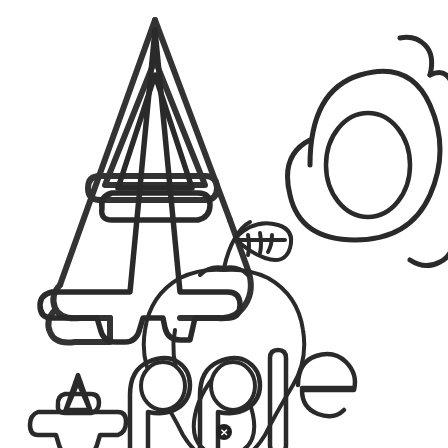[Figure (illustration): Children's alphabet coloring page showing uppercase A (block letter outline), lowercase a (rounded bubble letter outline), a drawing of an apple with stem and leaf, and the word 'Apple' in large bubble letters at the bottom.]